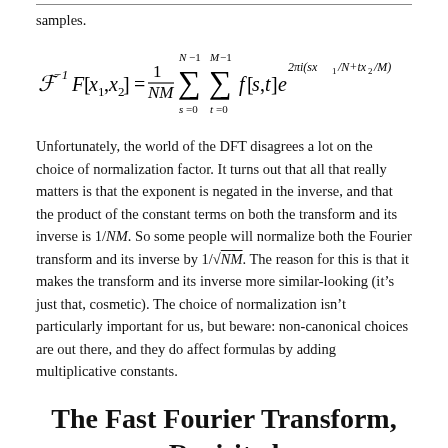samples.
Unfortunately, the world of the DFT disagrees a lot on the choice of normalization factor. It turns out that all that really matters is that the exponent is negated in the inverse, and that the product of the constant terms on both the transform and its inverse is 1/NM. So some people will normalize both the Fourier transform and its inverse by 1/√NM. The reason for this is that it makes the transform and its inverse more similar-looking (it’s just that, cosmetic). The choice of normalization isn’t particularly important for us, but beware: non-canonical choices are out there, and they do affect formulas by adding multiplicative constants.
The Fast Fourier Transform, Revisited